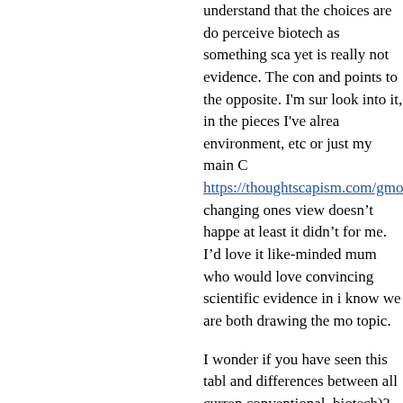understand that the choices are do perceive biotech as something sca yet is really not evidence. The con and points to the opposite. I'm sur look into it, in the pieces I've alrea environment, etc or just my main C https://thoughtscapism.com/gmos/ changing ones view doesn't happe at least it didn't for me. I'd love it like-minded mum who would love convincing scientific evidence in i know we are both drawing the mo topic.
I wonder if you have seen this tab and differences between all curren conventional, biotech)? http://kfol frankenfood-paradox.html